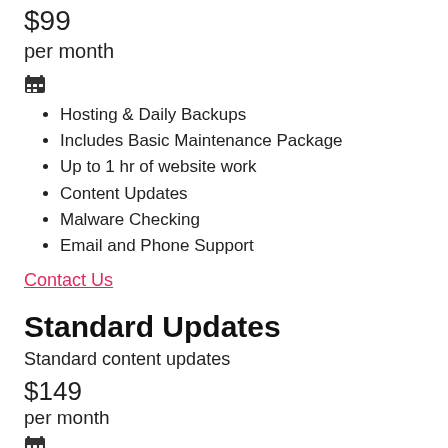$99
per month
[Figure (illustration): Calendar icon (small black calendar emoji/icon)]
Hosting & Daily Backups
Includes Basic Maintenance Package
Up to 1 hr of website work
Content Updates
Malware Checking
Email and Phone Support
Contact Us
Standard Updates
Standard content updates
$149
per month
[Figure (illustration): Calendar icon (small black calendar emoji/icon)]
Hosting & Daily Backups